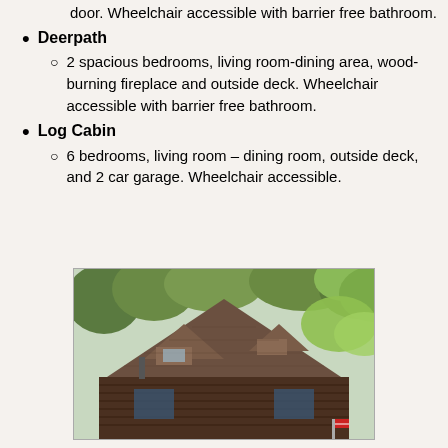door. Wheelchair accessible with barrier free bathroom.
Deerpath
2 spacious bedrooms, living room-dining area, wood-burning fireplace and outside deck. Wheelchair accessible with barrier free bathroom.
Log Cabin
6 bedrooms, living room – dining room, outside deck, and 2 car garage. Wheelchair accessible.
[Figure (photo): Exterior photo of a log cabin with dark brown wood siding and brown shingle roof with two dormers, surrounded by trees with green leaves.]